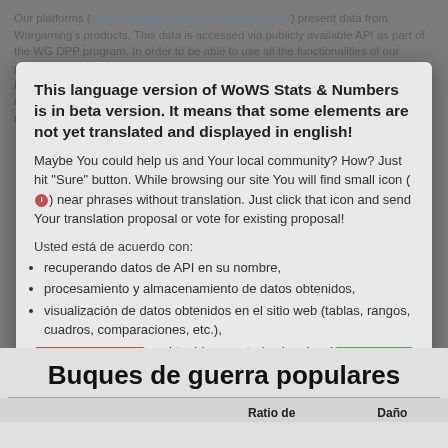Our platforms (wows-numbers.com, wot-numbers.com) present data from Wargaming's products. This data is accessed via publicly available API as part of the WG DPP program. In order to be able to use all the functionalities of our platforms, you must agree to access the API. Remember that our platforms only access publicly available information (e.g.: number of battles, statistics). We do not collect private data (e.g. email address, number of credits).
This language version of WoWS Stats & Numbers is in beta version. It means that some elements are not yet translated and displayed in english!
Maybe You could help us and Your local community? How? Just hit "Sure" button. While browsing our site You will find small icon near phrases without translation. Just click that icon and send Your translation proposal or vote for existing proposal!
Usted está de acuerdo con:
recuperando datos de API en su nombre,
procesamiento y almacenamiento de datos obtenidos,
visualización de datos obtenidos en el sitio web (tablas, rangos, cuadros, comparaciones, etc.),
compartiendo datos obtenidos con todos los demás usuarios de nuestras plataformas, los datos serán
Buques de guerra populares
|  |  |  | Ratio de | Daño |
| --- | --- | --- | --- | --- |